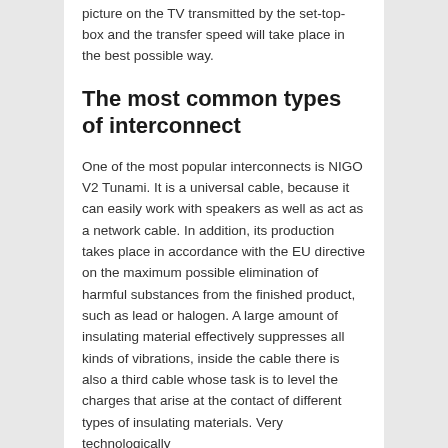picture on the TV transmitted by the set-top-box and the transfer speed will take place in the best possible way.
The most common types of interconnect
One of the most popular interconnects is NIGO V2 Tunami. It is a universal cable, because it can easily work with speakers as well as act as a network cable. In addition, its production takes place in accordance with the EU directive on the maximum possible elimination of harmful substances from the finished product, such as lead or halogen. A large amount of insulating material effectively suppresses all kinds of vibrations, inside the cable there is also a third cable whose task is to level the charges that arise at the contact of different types of insulating materials. Very technologically